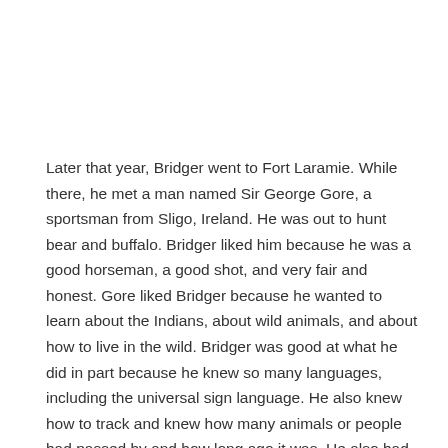Later that year, Bridger went to Fort Laramie. While there, he met a man named Sir George Gore, a sportsman from Sligo, Ireland. He was out to hunt bear and buffalo. Bridger liked him because he was a good horseman, a good shot, and very fair and honest. Gore liked Bridger because he wanted to learn about the Indians, about wild animals, and about how to live in the wild. Bridger was good at what he did in part because he knew so many languages, including the universal sign language. He also knew how to track and knew how many animals or people had passed by and how long ago it was. He also had a good memory for landmarks.